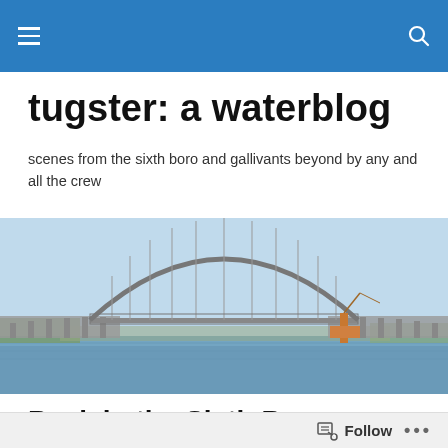[Navigation bar with hamburger menu and search icon]
tugster: a waterblog
scenes from the sixth boro and gallivants beyond by any and all the crew
[Figure (photo): Panoramic photo of a large steel arch bridge over a wide waterway, with blue sky and green trees in the background. Construction equipment visible near the bridge.]
Back in the Sixth Boro
To paraphrase the line about the chanteuse grosse and
Follow ...